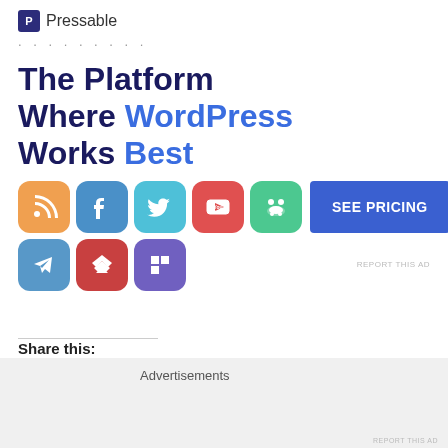[Figure (logo): Pressable logo with a blue square containing letter P, followed by text 'Pressable' and dotted separator line]
[Figure (infographic): Advertisement for Pressable hosting: headline 'The Platform Where WordPress Works Best' with social media icons (RSS, Facebook, Twitter, YouTube, Frog/Feedly, Telegram, Feedly, Flipboard) and a blue 'SEE PRICING' button. Small 'REPORT THIS AD' text in corner.]
Share this:
Email  Print  Facebook  Twitter  More
Advertisements
REPORT THIS AD